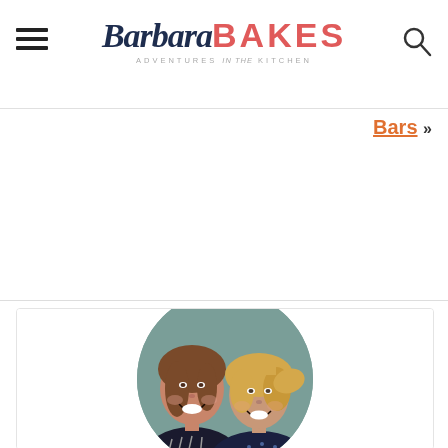Barbara BAKES - ADVENTURES in the KITCHEN
Bars »
[Figure (photo): Two smiling women posing together in a circular cropped portrait photo against a teal/sage green background. The woman on the left has light brown/auburn hair and is wearing a dark patterned top. The woman on the right has blonde hair and is wearing a navy patterned top.]